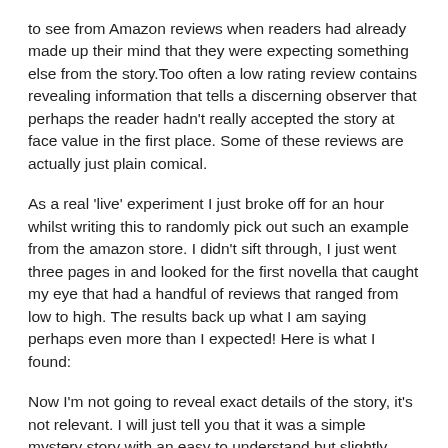to see from Amazon reviews when readers had already made up their mind that they were expecting something else from the story.Too often a low rating review contains revealing information that tells a discerning observer that perhaps the reader hadn't really accepted the story at face value in the first place. Some of these reviews are actually just plain comical.
As a real 'live' experiment I just broke off for an hour whilst writing this to randomly pick out such an example from the amazon store. I didn't sift through, I just went three pages in and looked for the first novella that caught my eye that had a handful of reviews that ranged from low to high. The results back up what I am saying perhaps even more than I expected! Here is what I found:
Now I'm not going to reveal exact details of the story, it's not relevant. I will just tell you that it was a simple mystery story with an easy to understand but slightly unusual plot. It was also a debut novella to be the first in a series. I have changed the exact wording of the review comments to protect any obvious identity.